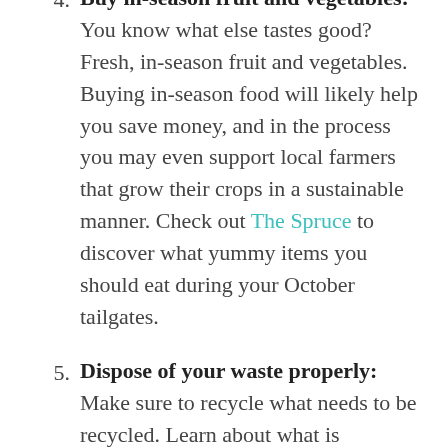Buy in-season fruit and vegetables: You know what else tastes good? Fresh, in-season fruit and vegetables. Buying in-season food will likely help you save money, and in the process you may even support local farmers that grow their crops in a sustainable manner. Check out The Spruce to discover what yummy items you should eat during your October tailgates.
Dispose of your waste properly: Make sure to recycle what needs to be recycled. Learn about what is recyclable here. Maybe even consider composting your uneaten